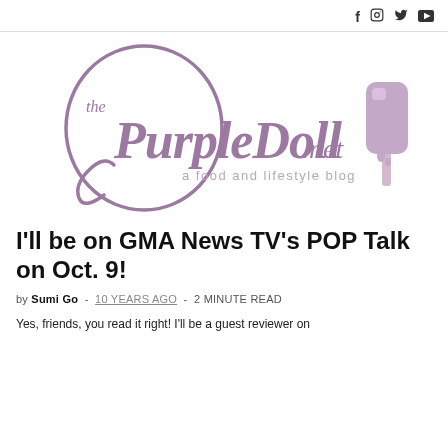f  IG  twitter  youtube
[Figure (logo): The PurpleDoll.net logo — cursive purple script with a popsicle graphic and tagline 'a food and lifestyle blog']
I'll be on GMA News TV's POP Talk on Oct. 9!
by Sumi Go  -  10 YEARS AGO  -  2 MINUTE READ
Yes, friends, you read it right! I'll be a guest reviewer on